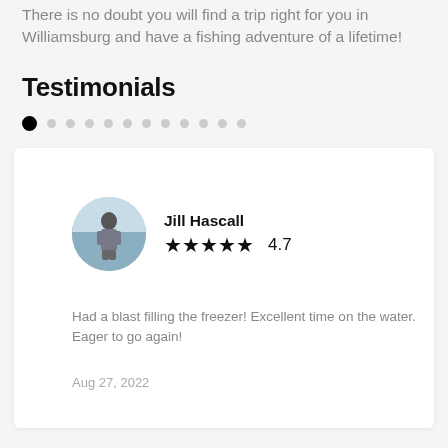There is no doubt you will find a trip right for you in Williamsburg and have a fishing adventure of a lifetime!
Testimonials
● · · · · · · · · · · ·
[Figure (photo): Circular avatar photo of Jill Hascall, a person standing outdoors near water]
Jill Hascall
★★★★★ 4.7
Had a blast filling the freezer! Excellent time on the water. Eager to go again!
Aug 27, 2022